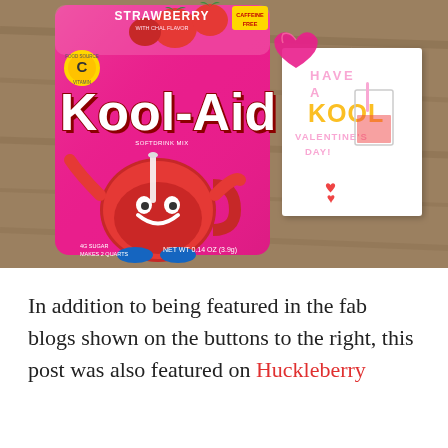[Figure (photo): Photo of a Strawberry Kool-Aid packet (pink, caffeine free, NET WT 0.14 OZ 3.9g) alongside a white Valentine's Day card reading 'HAVE A KOOL VALENTINE'S DAY!' with a drink illustration and pink heart gem, placed on a wooden surface.]
In addition to being featured in the fab blogs shown on the buttons to the right, this post was also featured on Huckleberry